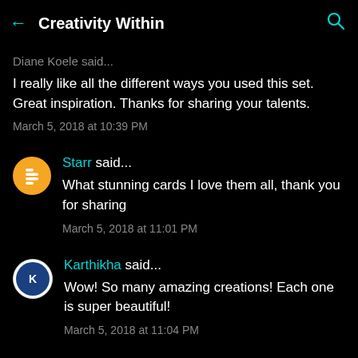Creativity Within
Diane Koele said...
I really like all the different ways you used this set. Great inspiration. Thanks for sharing your talents.
March 5, 2018 at 10:39 PM
Starr said...
What stunning cards I love them all, thank you for sharing
March 5, 2018 at 11:01 PM
Karthikha said...
Wow! So many amazing creations! Each one is super beautiful!
March 5, 2018 at 11:04 PM